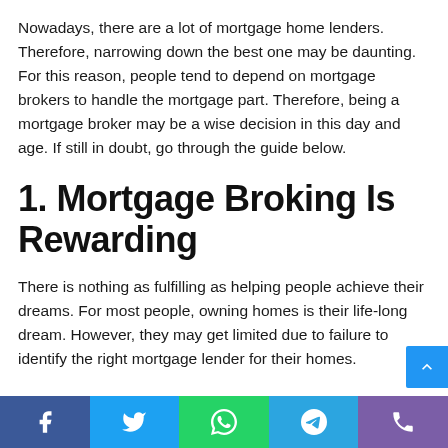Nowadays, there are a lot of mortgage home lenders. Therefore, narrowing down the best one may be daunting. For this reason, people tend to depend on mortgage brokers to handle the mortgage part. Therefore, being a mortgage broker may be a wise decision in this day and age. If still in doubt, go through the guide below.
1. Mortgage Broking Is Rewarding
There is nothing as fulfilling as helping people achieve their dreams. For most people, owning homes is their life-long dream. However, they may get limited due to failure to identify the right mortgage lender for their homes.